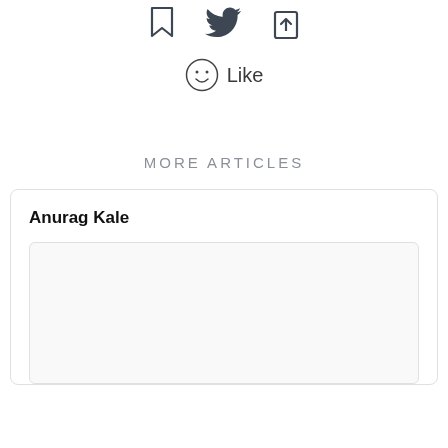[Figure (illustration): Three social sharing icons: bookmark, Twitter bird, and share/export icon, arranged horizontally at the top of the page]
[Figure (illustration): Smiley face circle icon followed by the word 'Like']
MORE ARTICLES
Anurag Kale
[Figure (photo): Empty image placeholder rectangle within article card]